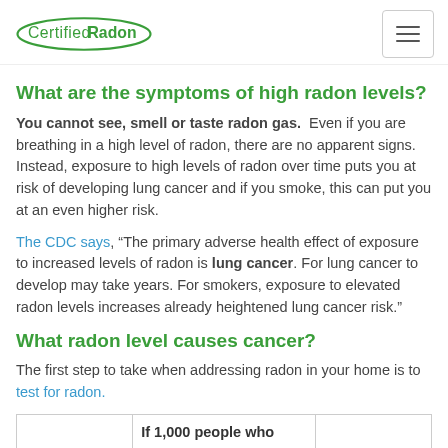CertifiedRadon
What are the symptoms of high radon levels?
You cannot see, smell or taste radon gas.  Even if you are breathing in a high level of radon, there are no apparent signs. Instead, exposure to high levels of radon over time puts you at risk of developing lung cancer and if you smoke, this can put you at an even higher risk.
The CDC says, “The primary adverse health effect of exposure to increased levels of radon is lung cancer. For lung cancer to develop may take years. For smokers, exposure to elevated radon levels increases already heightened lung cancer risk.”
What radon level causes cancer?
The first step to take when addressing radon in your home is to test for radon.
|  | If 1,000 people who |  |
| --- | --- | --- |